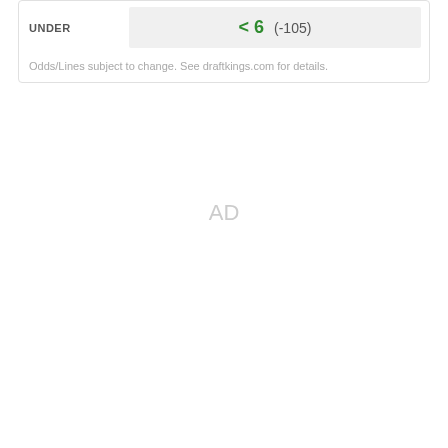|  |  |
| --- | --- |
| UNDER | < 6  (-105) |
Odds/Lines subject to change. See draftkings.com for details.
AD